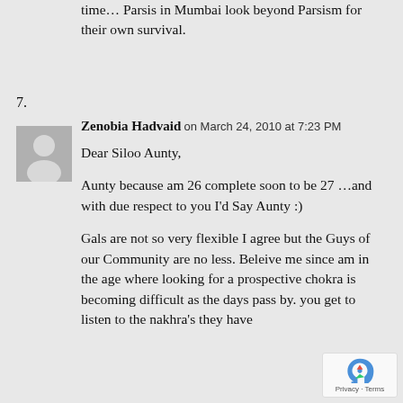time… Parsis in Mumbai look beyond Parsism for their own survival.
7.
Zenobia Hadvaid on March 24, 2010 at 7:23 PM
Dear Siloo Aunty,

Aunty because am 26 complete soon to be 27 …and with due respect to you I'd Say Aunty :)

Gals are not so very flexible I agree but the Guys of our Community are no less. Beleive me since am in the age where looking for a prospective chokra is becoming difficult as the days pass by. you get to listen to the nakhra's they have